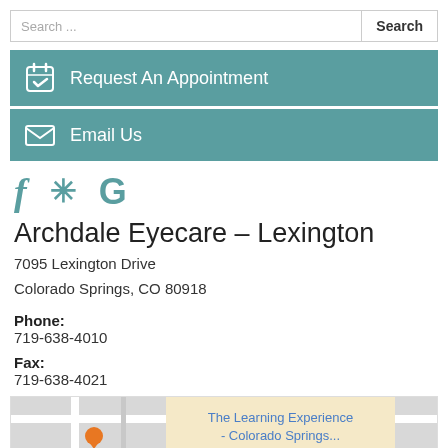Search ...
Request An Appointment
Email Us
[Figure (infographic): Social media icons: Facebook (f), Yelp (asterisk/flower), Google (G) in teal color]
Archdale Eyecare – Lexington
7095 Lexington Drive
Colorado Springs, CO 80918
Phone:
719-638-4010
Fax:
719-638-4021
[Figure (map): Google Maps embed showing location near The Learning Experience - Colorado Springs...]